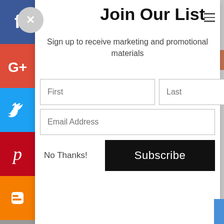Join Our List
Sign up to receive marketing and promotional materials
[Figure (screenshot): Email signup modal form with First, Last, Email Address input fields, a No Thanks link and a Subscribe button]
[Figure (infographic): Social media share sidebar with Facebook, Google+, Twitter, Pinterest, Blogger, and more buttons]